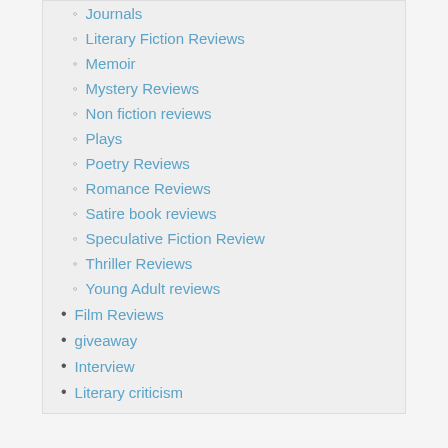Journals
Literary Fiction Reviews
Memoir
Mystery Reviews
Non fiction reviews
Plays
Poetry Reviews
Romance Reviews
Satire book reviews
Speculative Fiction Review
Thriller Reviews
Young Adult reviews
Film Reviews
giveaway
Interview
Literary criticism
Music reviews